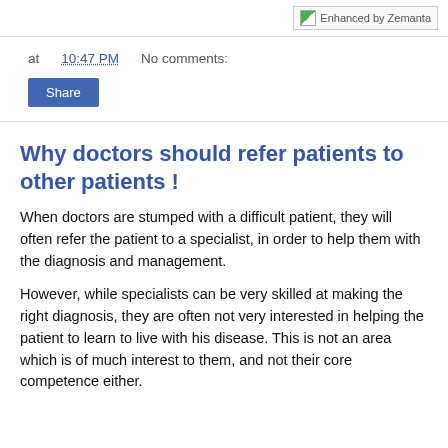[Figure (logo): Enhanced by Zemanta badge/logo in top right corner]
at 10:47 PM   No comments:
Share
Why doctors should refer patients to other patients !
When doctors are stumped with a difficult patient, they will often refer the patient to a specialist, in order to help them with the diagnosis and management.
However, while specialists can be very skilled at making the right diagnosis, they are often not very interested in helping the patient to learn to live with his disease. This is not an area which is of much interest to them, and not their core competence either.